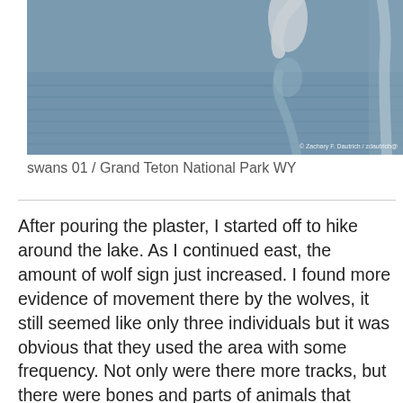[Figure (photo): Photo of swans or birds near water with reflections, partially cropped at top. Photo credit reads '© Zachary F. Dautrich / zdautrich@' in bottom right corner.]
swans 01 / Grand Teton National Park WY
After pouring the plaster, I started off to hike around the lake. As I continued east, the amount of wolf sign just increased. I found more evidence of movement there by the wolves, it still seemed like only three individuals but it was obvious that they used the area with some frequency. Not only were there more tracks, but there were bones and parts of animals that indicated kill sites and also